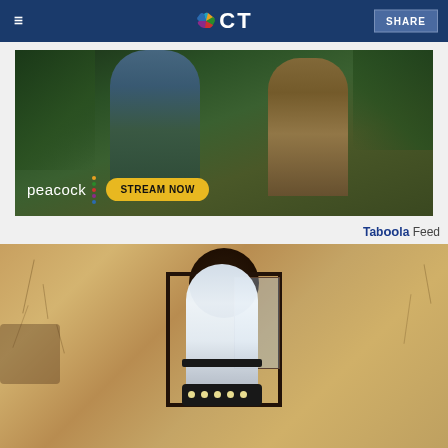NBC CT — SHARE
[Figure (photo): Peacock streaming service advertisement showing two people in a jungle setting with text 'peacock STREAM NOW']
Taboola Feed
[Figure (photo): Outdoor wall lamp fixture with a security camera bulb installed, mounted on a textured stucco wall]